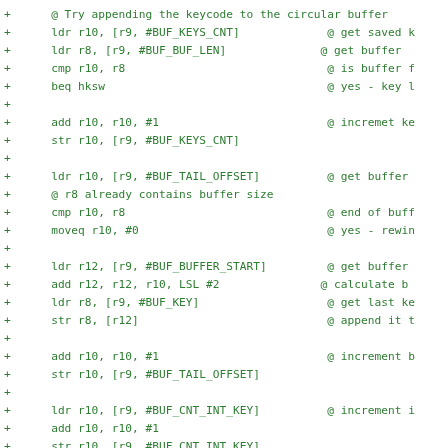Assembly source code diff showing circular buffer keycode append logic in ARM assembly